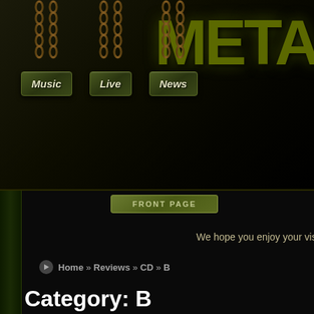[Figure (screenshot): Metal music review website header with chain-hung navigation buttons (Music, Live, News) and META logo text on dark grunge background]
[Figure (other): FRONT PAGE button with olive/green styling]
We hope you enjoy your visit he
Home » Reviews » CD » B
Category: B
| Band/Artist Name | Album Title | Rating |
| --- | --- | --- |
| Bulletbelt | Warlords | 9 |
| Black Mass | Warlust | 7 |
| Buckcherry | Warpaint | 3 |